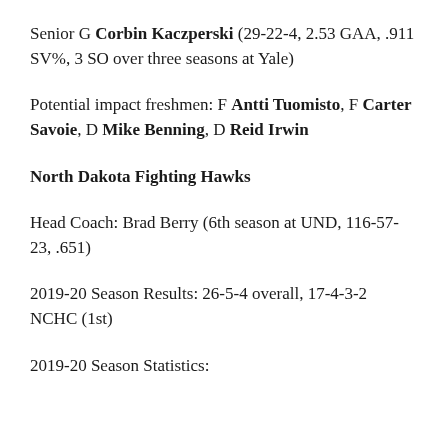Senior G Corbin Kaczperski (29-22-4, 2.53 GAA, .911 SV%, 3 SO over three seasons at Yale)
Potential impact freshmen: F Antti Tuomisto, F Carter Savoie, D Mike Benning, D Reid Irwin
North Dakota Fighting Hawks
Head Coach: Brad Berry (6th season at UND, 116-57-23, .651)
2019-20 Season Results: 26-5-4 overall, 17-4-3-2 NCHC (1st)
2019-20 Season Statistics: